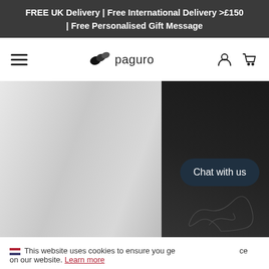FREE UK Delivery | Free International Delivery >£150 | Free Personalised Gift Message
[Figure (logo): Paguro brand logo with wave/shell icon and text 'paguro', navigation bar with hamburger menu, user account icon, and shopping cart icon]
[Figure (photo): Close-up photo showing a white fabric garment (possibly a bag or clothing item) alongside a dark sleeve with a tattoo visible at the bottom right corner]
Chat with us
This website uses cookies to ensure you get the best experience on our website. Learn more